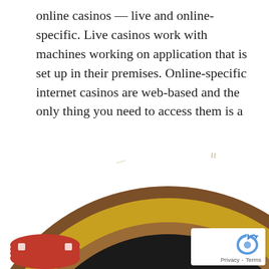online casinos — live and online-specific. Live casinos work with machines working on application that is set up in their premises. Online-specific internet casinos are web-based and the only thing you need to access them is a computer system with an Internet interconnection.
[Figure (illustration): A roulette wheel illustration cropped showing the numbered slots (red, black, green for 0) with gold and brown decorative border. Numbers visible include 0, 2, 6, 7, 14, 16, 21, 22, 23, 26, 28, 30, 33, 35. Red casino chips visible at bottom left. Gold roulette ball track visible.]